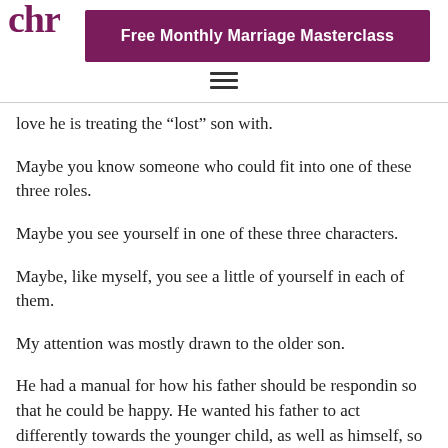chr | Free Monthly Marriage Masterclass
love he is treating the “lost” son with.
Maybe you know someone who could fit into one of these three roles.
Maybe you see yourself in one of these three characters.
Maybe, like myself, you see a little of yourself in each of them.
My attention was mostly drawn to the older son.
He had a manual for how his father should be respondin so that he could be happy. He wanted his father to act differently towards the younger child, as well as himself, so that he could feel better.